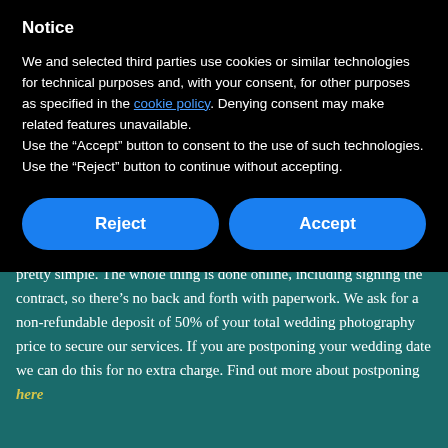Notice
We and selected third parties use cookies or similar technologies for technical purposes and, with your consent, for other purposes as specified in the cookie policy. Denying consent may make related features unavailable.
Use the “Accept” button to consent to the use of such technologies. Use the “Reject” button to continue without accepting.
Reject | Accept
offer the best experience for your wedding. The booking process is pretty simple. The whole thing is done online, including signing the contract, so there’s no back and forth with paperwork. We ask for a non-refundable deposit of 50% of your total wedding photography price to secure our services. If you are postponing your wedding date we can do this for no extra charge. Find out more about postponing here